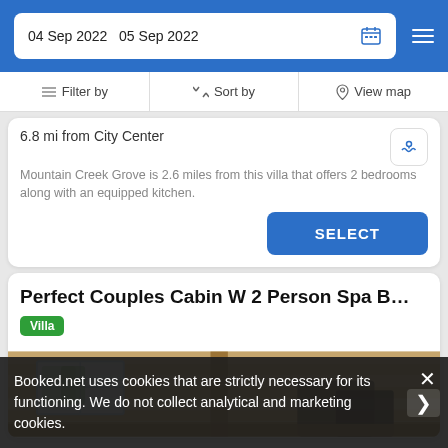04 Sep 2022   05 Sep 2022
Filter by   Sort by   View map
6.8 mi from City Center
Mountain Creek Grove is 2.6 miles from this villa that offers 2 bedrooms along with an equipped kitchen.
SELECT
Perfect Couples Cabin W 2 Person Spa B…
Villa
[Figure (photo): Interior photo of a log cabin with wooden walls and ceiling]
Booked.net uses cookies that are strictly necessary for its functioning. We do not collect analytical and marketing cookies.